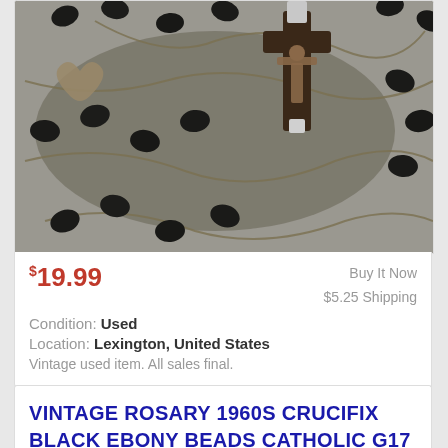[Figure (photo): Close-up photo of a vintage black rosary with ebony beads and a crucifix on a gray background]
$19.99
Buy It Now
$5.25 Shipping
Condition: Used
Location: Lexington, United States
Vintage used item. All sales final.
VINTAGE ROSARY 1960S CRUCIFIX BLACK EBONY BEADS CATHOLIC G17
[Figure (photo): Close-up photo of a vintage black rosary beads with crucifix on gray background]